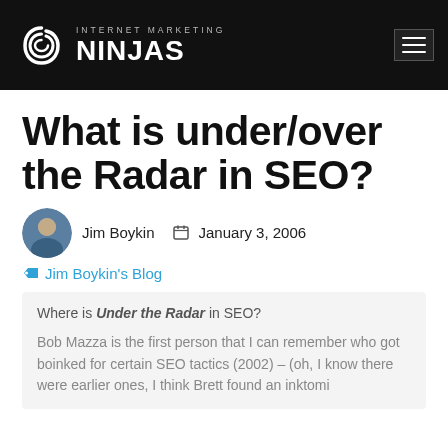INTERNET MARKETING NINJAS
What is under/over the Radar in SEO?
Jim Boykin   January 3, 2006
Jim Boykin's Blog
Where is Under the Radar in SEO?

Bob Mazza is the first person that I can remember who got boinked for certain SEO tactics (2002) – (oh, I know there were earlier ones, I think Brett found an inktomi